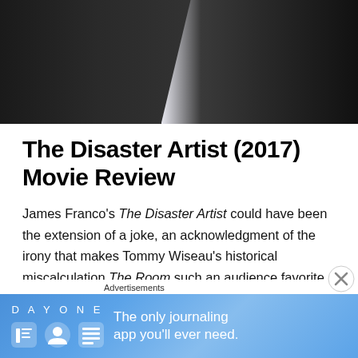[Figure (photo): Two people seated side by side in dark suits against a dark background, one wearing a light blue shirt visible in the center]
The Disaster Artist (2017) Movie Review
James Franco’s The Disaster Artist could have been the extension of a joke, an acknowledgment of the irony that makes Tommy Wiseau’s historical miscalculation The Room such an audience favorite. That would have been the easy route, and it would have made for a less compelling film.
Advertisements
[Figure (screenshot): Day One journaling app advertisement banner with blue gradient background, app icons, and tagline: The only journaling app you'll ever need.]